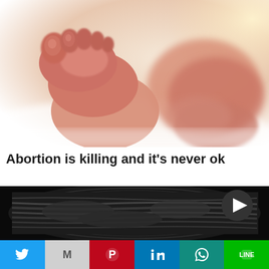[Figure (photo): Close-up photo of a newborn baby's feet against a soft white background, showing small toes with pink and peach tones, blurred depth of field]
Abortion is killing and it's never ok
[Figure (photo): Ultrasound image showing a grayscale sonogram with a dark background and a play/pause triangle button overlay in the upper right]
[Figure (infographic): Social media share bar with buttons for Twitter (blue bird), Gmail (grey M), Pinterest (red P), LinkedIn (blue in), WhatsApp (teal phone icon), Line (green chat icon)]